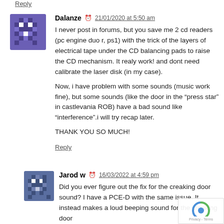Reply
Dalanze  21/01/2020 at 5:50 am
I never post in forums, but you save me 2 cd readers (pc engine duo r, ps1) with the trick of the layers of electrical tape under the CD balancing pads to raise the CD mechanism. It realy work! and dont need calibrate the laser disk (in my case).

Now, i have problem with some sounds (music work fine), but some sounds (like the door in the “press star” in castlevania ROB) have a bad sound like “interference”.i will try recap later.

THANK YOU SO MUCH!
Reply
Jarod w  16/03/2022 at 4:59 pm
Did you ever figure out the fix for the creaking door sound? I have a PCE-D with the same issue. It instead makes a loud beeping sound for the creaking door